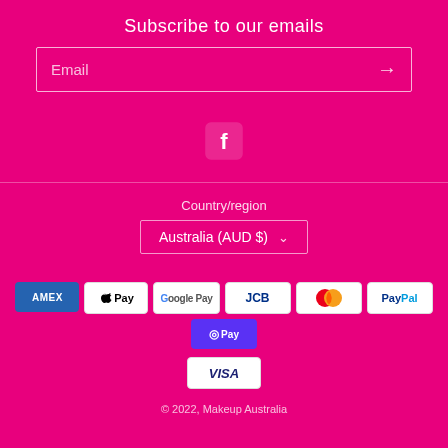Subscribe to our emails
Email
[Figure (logo): Facebook icon (white f in rounded square) on pink background]
Country/region
Australia (AUD $)
[Figure (infographic): Payment method icons: American Express, Apple Pay, Google Pay, JCB, Mastercard, PayPal, Shop Pay, Visa]
© 2022, Makeup Australia